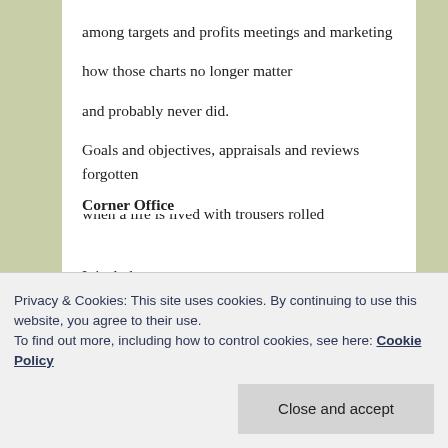among targets and profits meetings and marketing
how those charts no longer matter
and probably never did.
Goals and objectives, appraisals and reviews forgotten
when a life is lived with trousers rolled
and shirts untucked, ties a distant demise.
Corner Office
It is dark.
A boy shovels snow.
With each neat pile
then Cora Anderson's place
Privacy & Cookies: This site uses cookies. By continuing to use this website, you agree to their use.
To find out more, including how to control cookies, see here: Cookie Policy